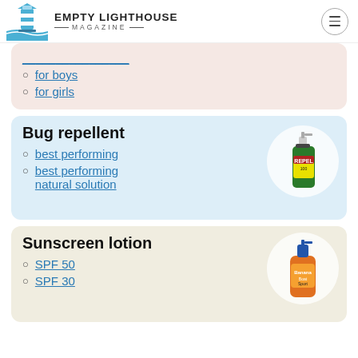EMPTY LIGHTHOUSE MAGAZINE
for boys
for girls
Bug repellent
best performing
best performing natural solution
[Figure (photo): Green Repel bug spray bottle]
Sunscreen lotion
SPF 50
SPF 30
[Figure (photo): Orange sunscreen lotion pump bottle]